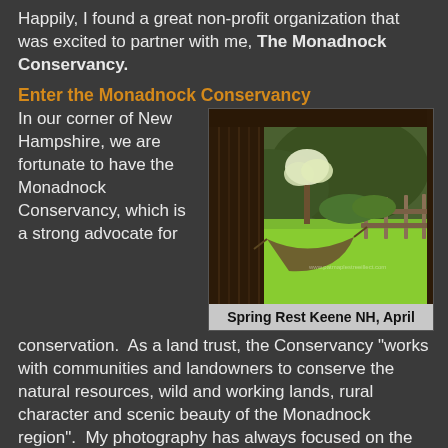Happily, I found a great non-profit organization that was excited to partner with me, The Monadnock Conservancy.
Enter the Monadnock Conservancy
In our corner of New Hampshire, we are fortunate to have the Monadnock Conservancy, which is a strong advocate for conservation.  As a land trust, the Conservancy “works with communities and landowners to conserve the natural resources, wild and working lands, rural character and scenic beauty of the Monadnock region”.  My photography has always focused on the
[Figure (photo): Outdoor scene viewed from inside a barn or covered structure, showing a hammock suspended in the foreground with a lush green lawn, flowering trees, and wooden fence in the background. Spring season in Keene, NH.]
Spring Rest Keene NH, April